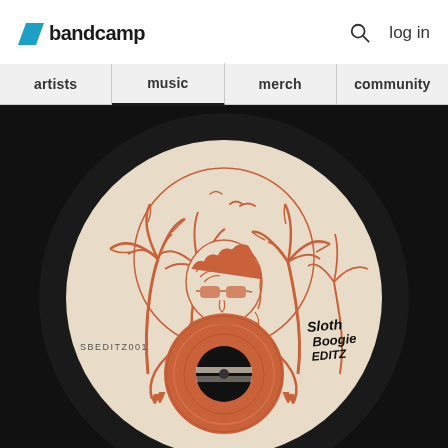bandcamp — log in
artists | music | merch | community
[Figure (illustration): Vinyl record label illustration showing a man wearing sunglasses holding a vinyl record, surrounded by palm trees, birds in the sky, and a sun/circle in the background. The illustration is in coral/orange lines on a cream/beige background. Text reads 'SBEDITZ001' on the left and 'Sloth Boogie Editz' logo on the right. The label is set on a black vinyl record.]